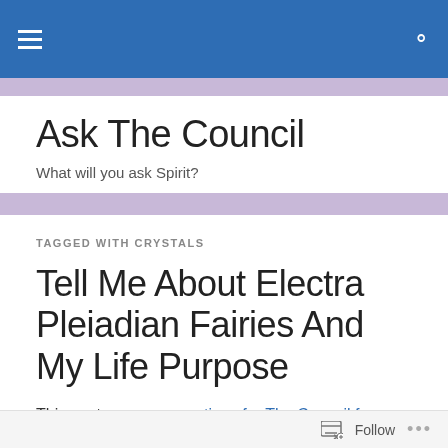Ask The Council — navigation bar with hamburger menu and search icon
Ask The Council
What will you ask Spirit?
TAGGED WITH CRYSTALS
Tell Me About Electra Pleiadian Fairies And My Life Purpose
This post answers questions for The Council from a reader named, Emily, who says: I'd like to know about Electra Pleiadian fairies. This is something that's been presented to me recently and I feel a connection to this information.
Follow